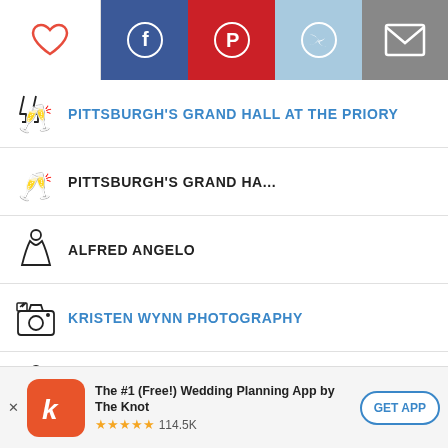[Figure (screenshot): Social sharing header bar with heart icon, Facebook, Pinterest, Twitter, and email icons]
PITTSBURGH'S GRAND HALL AT THE PRIORY
PITTSBURGH'S GRAND HA...
ALFRED ANGELO
KRISTEN WYNN PHOTOGRAPHY
MORI LEE
VISTAPRINT
[Figure (screenshot): App download banner: The #1 (Free!) Wedding Planning App by The Knot, 5 stars, 114.5K reviews, GET APP button]